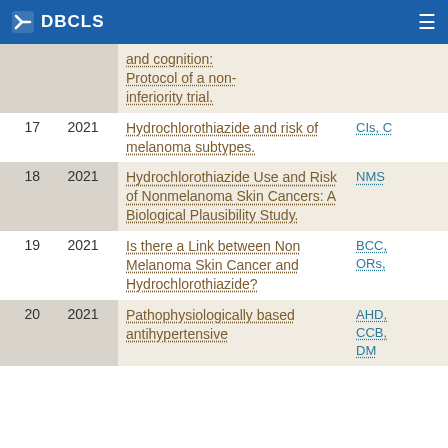DBCLS
| # | Year | Title | Meta |
| --- | --- | --- | --- |
|  |  | and cognition: Protocol of a non-inferiority trial. |  |
| 17 | 2021 | Hydrochlorothiazide and risk of melanoma subtypes. | CIs, C |
| 18 | 2021 | Hydrochlorothiazide Use and Risk of Nonmelanoma Skin Cancers: A Biological Plausibility Study. | NMSC |
| 19 | 2021 | Is there a Link between Non Melanoma Skin Cancer and Hydrochlorothiazide? | BCC, ORs, |
| 20 | 2021 | Pathophysiologically based antihypertensive | AHD, CCB, DM |